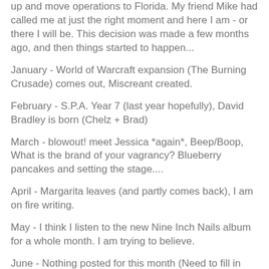up and move operations to Florida. My friend Mike had called me at just the right moment and here I am - or there I will be. This decision was made a few months ago, and then things started to happen...
January - World of Warcraft expansion (The Burning Crusade) comes out, Miscreant created.
February - S.P.A. Year 7 (last year hopefully), David Bradley is born (Chelz + Brad)
March - blowout! meet Jessica *again*, Beep/Boop, What is the brand of your vagrancy? Blueberry pancakes and setting the stage....
April - Margarita leaves (and partly comes back), I am on fire writing.
May - I think I listen to the new Nine Inch Nails album for a whole month. I am trying to believe.
June - Nothing posted for this month (Need to fill in these